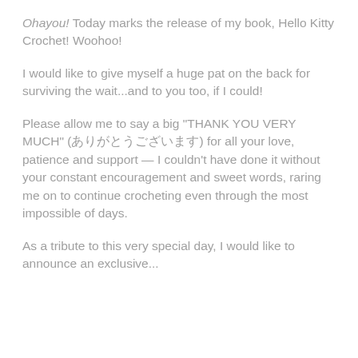Ohayou! Today marks the release of my book, Hello Kitty Crochet! Woohoo!
I would like to give myself a huge pat on the back for surviving the wait...and to you too, if I could!
Please allow me to say a big "THANK YOU VERY MUCH" (ありがとうございます) for all your love, patience and support — I couldn't have done it without your constant encouragement and sweet words, raring me on to continue crocheting even through the most impossible of days.
As a tribute to this very special day, I would like to announce an exclusive...